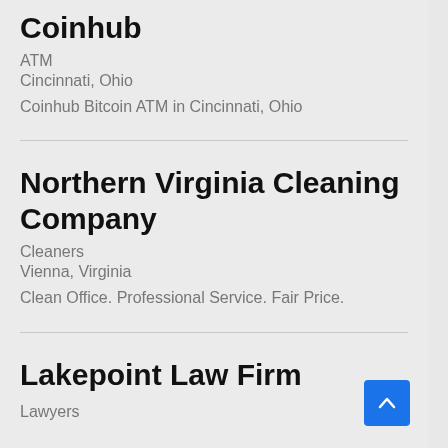Coinhub
ATM
Cincinnati, Ohio
Coinhub Bitcoin ATM in Cincinnati, Ohio
Northern Virginia Cleaning Company
Cleaners
Vienna, Virginia
Clean Office. Professional Service. Fair Price.
Lakepoint Law Firm